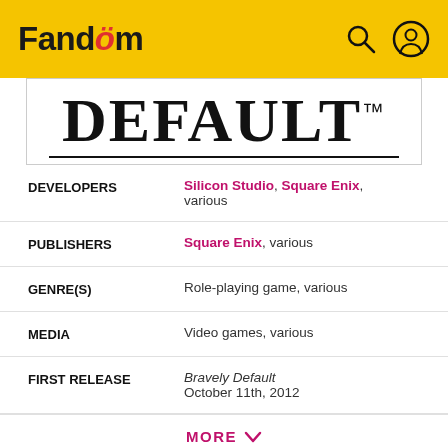Fandom
[Figure (logo): Bravely Default logo in large serif bold text with trademark symbol and underline]
| DEVELOPERS | Silicon Studio, Square Enix, various |
| PUBLISHERS | Square Enix, various |
| GENRE(S) | Role-playing game, various |
| MEDIA | Video games, various |
| FIRST RELEASE | Bravely Default October 11th, 2012 |
MORE